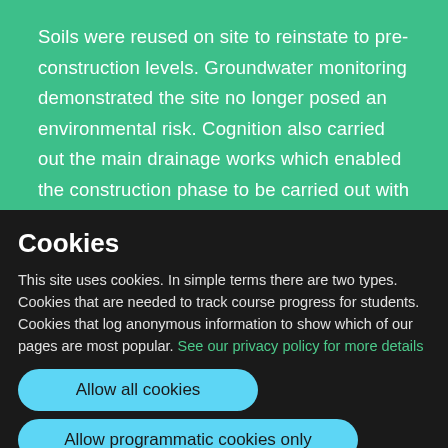Soils were reused on site to reinstate to pre-construction levels. Groundwater monitoring demonstrated the site no longer posed an environmental risk. Cognition also carried out the main drainage works which enabled the construction phase to be carried out with
Cookies
This site uses cookies. In simple terms there are two types. Cookies that are needed to track course progress for students. Cookies that log anonymous information to show which of our pages are most popular. See our privacy policy for more details
Allow all cookies
Allow programmatic cookies only